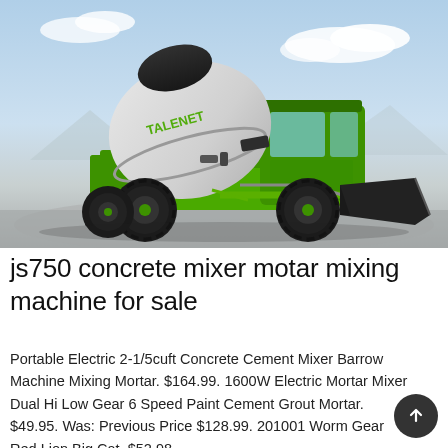[Figure (photo): A large green self-loading concrete mixer truck (TALENET branded) with a black drum, operator cab, and front loading bucket, photographed on a grey surface against a light blue sky background.]
js750 concrete mixer motar mixing machine for sale
Portable Electric 2-1/5cuft Concrete Cement Mixer Barrow Machine Mixing Mortar. $164.99. 1600W Electric Mortar Mixer Dual Hi Low Gear 6 Speed Paint Cement Grout Mortar. $49.95. Was: Previous Price $128.99. 201001 Worm Gear Red Lion Big Cat. $52.98.